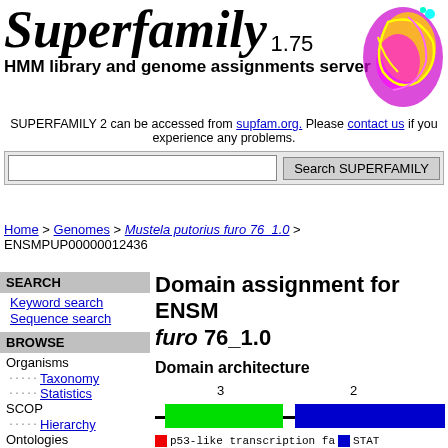Superfamily 1.75
HMM library and genome assignments server
SUPERFAMILY 2 can be accessed from supfam.org. Please contact us if you experience any problems.
Search SUPERFAMILY
Home > Genomes > Mustela putorius furo 76_1.0 > ENSMPUP00000012436
SEARCH
Keyword search
Sequence search
BROWSE
Organisms
Taxonomy
Statistics
SCOP
Hierarchy
Ontologies
Domain assignment for ENSM furo 76_1.0
Domain architecture
[Figure (infographic): Domain architecture diagram showing a green block (p53-like transcription factor) labeled 3 and a blue block (STAT) labeled 2 on a horizontal line. Legend shows red square for p53-like transcription factor and blue square for STAT.]
Other proteins with this domain arch
Other domain architectures with simi
Something about taxonomic distribution